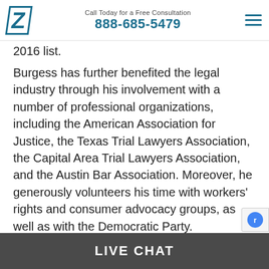Call Today for a Free Consultation 888-685-5479
2016 list.
Burgess has further benefited the legal industry through his involvement with a number of professional organizations, including the American Association for Justice, the Texas Trial Lawyers Association, the Capital Area Trial Lawyers Association, and the Austin Bar Association. Moreover, he generously volunteers his time with workers' rights and consumer advocacy groups, as well as with the Democratic Party.
In all his endeavors, Burgess is blessed with th
LIVE CHAT